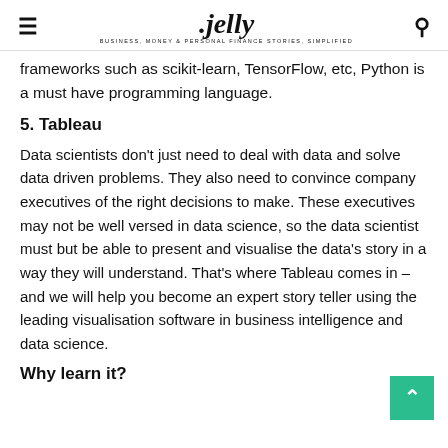jelly
frameworks such as scikit-learn, TensorFlow, etc, Python is a must have programming language.
5. Tableau
Data scientists don't just need to deal with data and solve data driven problems. They also need to convince company executives of the right decisions to make. These executives may not be well versed in data science, so the data scientist must but be able to present and visualise the data's story in a way they will understand. That's where Tableau comes in – and we will help you become an expert story teller using the leading visualisation software in business intelligence and data science.
Why learn it?